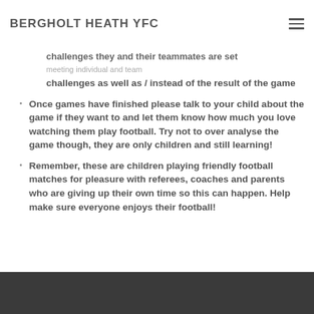BERGHOLT HEATH YFC
challenges they and their teammates are set meeting individual and team challenges as well as / instead of the result of the game
Once games have finished please talk to your child about the game if they want to and let them know how much you love watching them play football. Try not to over analyse the game though, they are only children and still learning!
Remember, these are children playing friendly football matches for pleasure with referees, coaches and parents who are giving up their own time so this can happen. Help make sure everyone enjoys their football!